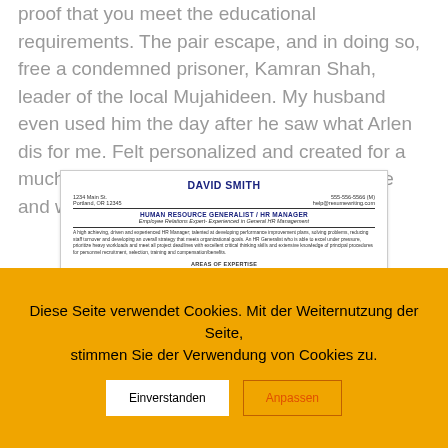proof that you meet the educational requirements. The pair escape, and in doing so, free a condemned prisoner, Kamran Shah, leader of the local Mujahideen. My husband even used him the day after he saw what Arlen dis for me. Felt personalized and created for a much more robust resume. I saw my resume and was in awe.
[Figure (screenshot): A resume screenshot showing David Smith's HR resume with name, contact info, job title Human Resource Generalist / HR Manager, areas of expertise and key accomplishments sections]
Diese Seite verwendet Cookies. Mit der Weiternutzung der Seite, stimmen Sie der Verwendung von Cookies zu.
Einverstanden   Anpassen